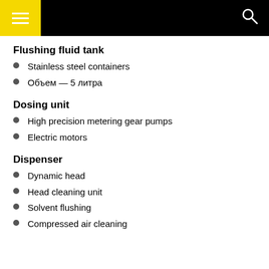Navigation header bar
Flushing fluid tank
Stainless steel containers
Объем — 5 литра
Dosing unit
High precision metering gear pumps
Electric motors
Dispenser
Dynamic head
Head cleaning unit
Solvent flushing
Compressed air cleaning